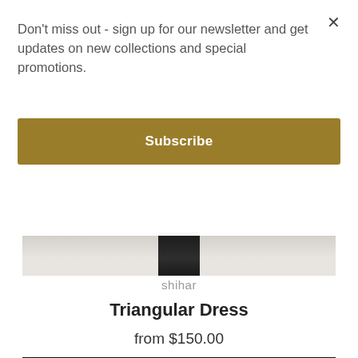Don't miss out - sign up for our newsletter and get updates on new collections and special promotions.
Subscribe
[Figure (photo): Partial view of a clothing product on a hanger or rack, showing a dark garment against a light beige/grey background]
shihar
Triangular Dress
from $150.00
[Figure (photo): Portrait photo of a young woman with dark hair against a dark background, wearing a dark outfit]